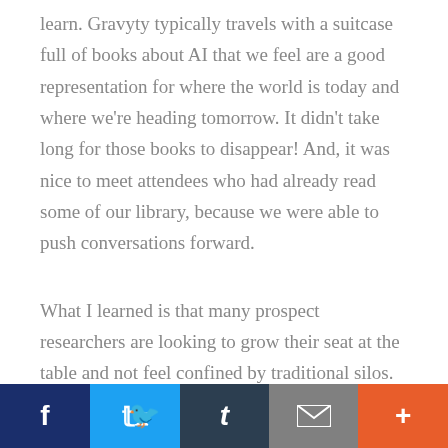learn. Gravyty typically travels with a suitcase full of books about AI that we feel are a good representation for where the world is today and where we're heading tomorrow. It didn't take long for those books to disappear! And, it was nice to meet attendees who had already read some of our library, because we were able to push conversations forward.
What I learned is that many prospect researchers are looking to grow their seat at the table and not feel confined by traditional silos. From having greater input into portfolio creation to spending more time researching prospects that have true affinities – these are some of the responsibilities they believe AI can help